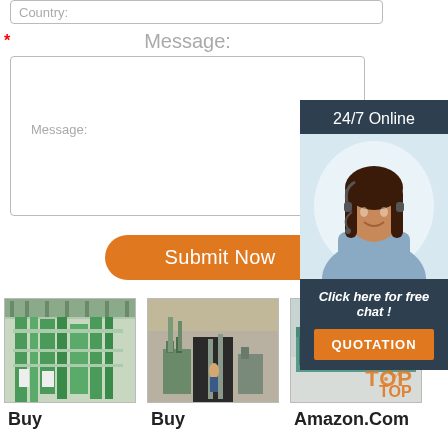Country:
*
Message:
Message:
Submit Now
24/7 Online
Click here for free chat !
QUOTATION
[Figure (photo): Industrial milling machine equipment in a factory]
Buy
[Figure (photo): Industrial milling/processing machine equipment outdoors]
Buy
[Figure (photo): Industrial grain milling machine with TOP logo overlay]
Amazon.Com